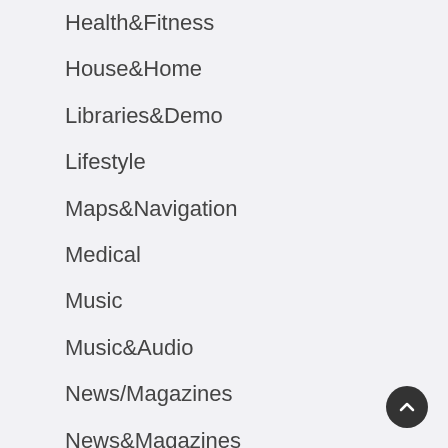Health&Fitness
House&Home
Libraries&Demo
Lifestyle
Maps&Navigation
Medical
Music
Music&Audio
News/Magazines
News&Magazines
Parenting
Personalization
Photography